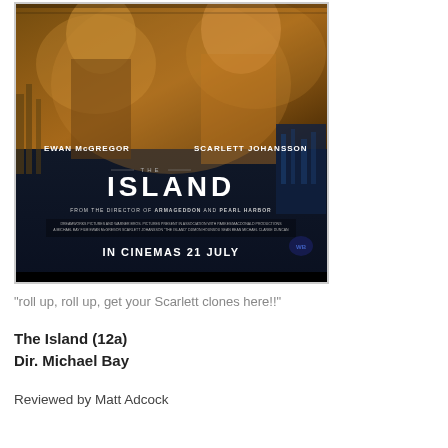[Figure (photo): Movie poster for 'The Island' featuring Ewan McGregor and Scarlett Johansson. Dark dramatic image with golden/amber tones in upper half and blue tones in lower half. Text reads: EWAN McGREGOR, SCARLETT JOHANSSON, THE ISLAND, FROM THE DIRECTOR OF ARMAGEDDON AND PEARL HARBOR, IN CINEMAS 21 JULY]
"roll up, roll up, get your Scarlett clones here!!"
The Island (12a)
Dir. Michael Bay
Reviewed by Matt Adcock